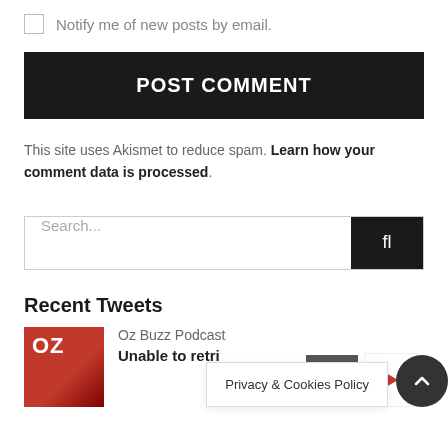Notify me of new posts by email.
POST COMMENT
This site uses Akismet to reduce spam. Learn how your comment data is processed.
Search...
Recent Tweets
Oz Buzz Podcast
Unable to retri
Privacy & Cookies Policy